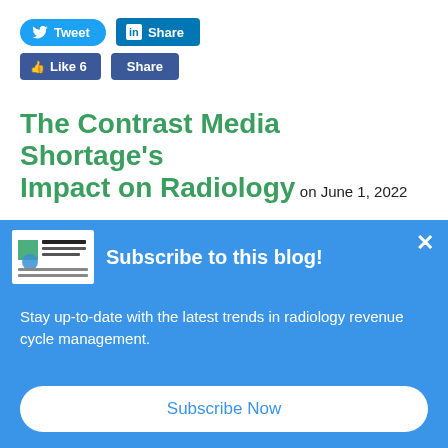[Figure (other): Social media share buttons: Tweet (Twitter), Share (LinkedIn), Like 6 (Facebook), Share (Facebook)]
The Contrast Media Shortage's Impact on Radiology on June 1, 2022
The shutdown of GE Healthcare's Shanghai, China plant that began
[Figure (photo): Interior photo of an MRI scanner machine in a clinical room]
[Figure (other): Popup banner: Subscribe to this blog! Stay up-to-date with the latest trends in radiology revenue cycle management. Subscribe Now button.]